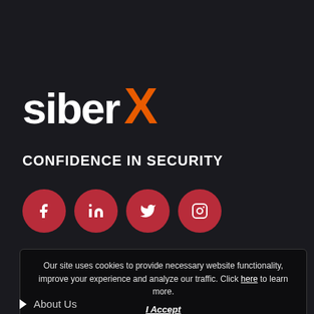[Figure (logo): SiberX logo with white text 'siberX' and orange X letter]
CONFIDENCE IN SECURITY
[Figure (infographic): Four dark red circular social media icon buttons: Facebook, LinkedIn, Twitter, Instagram]
Our site uses cookies to provide necessary website functionality, improve your experience and analyze our traffic. Click here to learn more.
I Accept